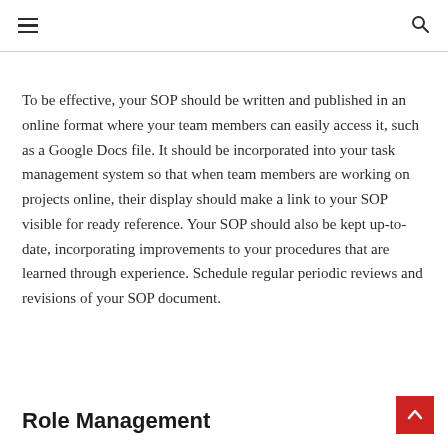≡  🔍
To be effective, your SOP should be written and published in an online format where your team members can easily access it, such as a Google Docs file. It should be incorporated into your task management system so that when team members are working on projects online, their display should make a link to your SOP visible for ready reference. Your SOP should also be kept up-to-date, incorporating improvements to your procedures that are learned through experience. Schedule regular periodic reviews and revisions of your SOP document.
Role Management